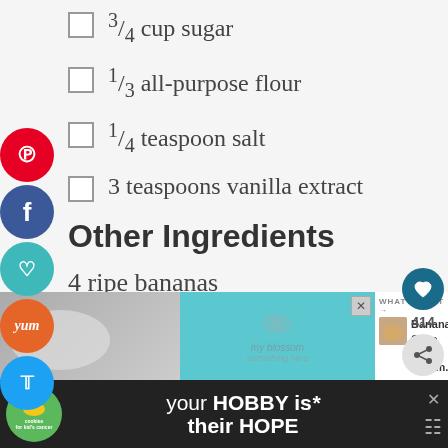¾ cup sugar
⅓ all-purpose flour
¼ teaspoon salt
3 teaspoons vanilla extract
Other Ingredients
4 ripe bananas
1 box vanilla wafers, crumbled
[Figure (other): Social media share bar on left with Pinterest, Facebook, heart/save, Yummly, and Twitter buttons. Right side shows heart/save button with count 414 and share button. Bottom section shows advertisement area with gray image on left, teal ad in center, and 'What's Next: Banana Cake with Cream...' panel on right. Bottom banner: cookies for kids cancer - your HOBBY is their HOPE.]